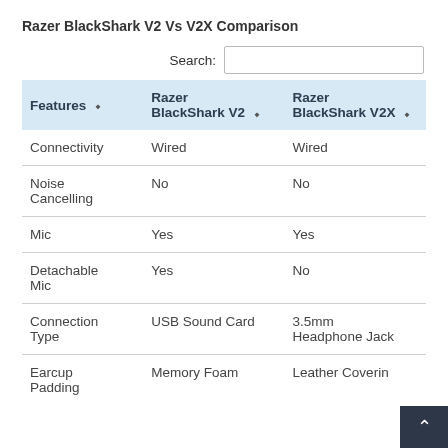Razer BlackShark V2 Vs V2X Comparison
| Features | Razer BlackShark V2 | Razer BlackShark V2X |
| --- | --- | --- |
| Connectivity | Wired | Wired |
| Noise Cancelling | No | No |
| Mic | Yes | Yes |
| Detachable Mic | Yes | No |
| Connection Type | USB Sound Card | 3.5mm Headphone Jack |
| Earcup Padding | Memory Foam | Leather Covering |